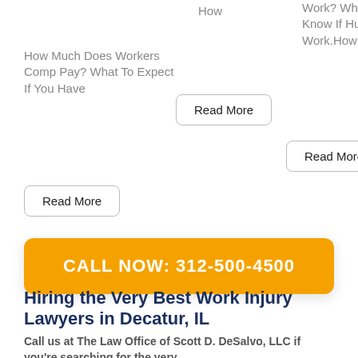How
Work? What To Know If Hurt At Work.How
How Much Does Workers Comp Pay? What To Expect If You Have
Read More
Read More
Read More
CALL NOW: 312-500-4500
Hiring the Very Best Work Injury Lawyers in Decatur, IL
Call us at The Law Office of Scott D. DeSalvo, LLC if you're searching for the very